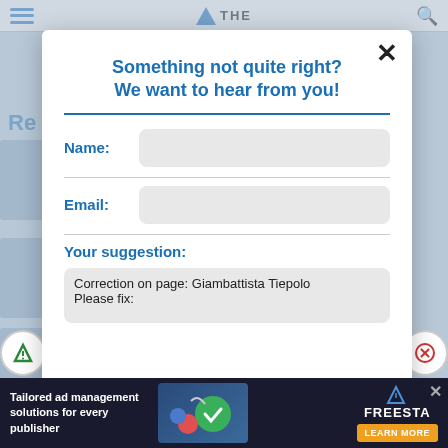Something not quite right?
We want to hear from you!
Name:
Email:
Your suggestion:
Correction on page: Giambattista Tiepolo
Please fix:
Tailored ad management solutions for every publisher
FREESTA
LEARN MORE